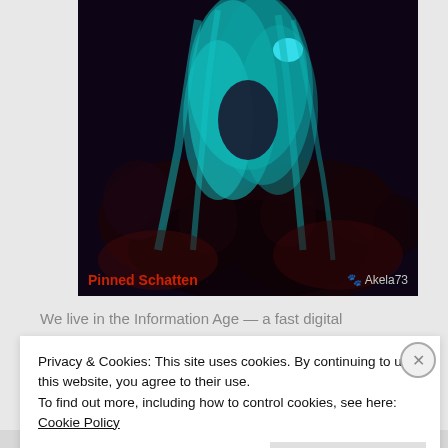[Figure (illustration): Dark fantasy digital artwork showing a figure with glowing teal/turquoise hair surrounded by dark shadowy figures. Text overlay reads 'Pinned Schatten' in red and a paw print watermark with 'Akela73' in light color.]
We live in the Information Age — a fast digital
Privacy & Cookies: This site uses cookies. By continuing to use this website, you agree to their use.
To find out more, including how to control cookies, see here: Cookie Policy
Close and accept